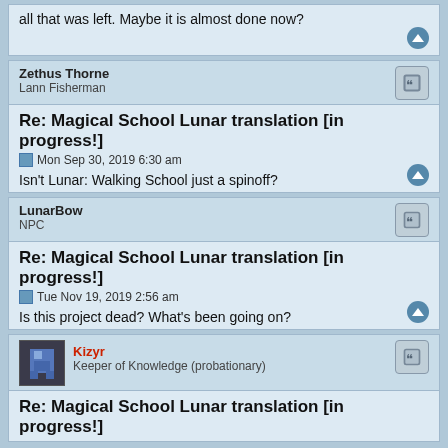all that was left. Maybe it is almost done now?
Zethus Thorne
Lann Fisherman
Re: Magical School Lunar translation [in progress!]
Mon Sep 30, 2019 6:30 am
Isn't Lunar: Walking School just a spinoff?
LunarBow
NPC
Re: Magical School Lunar translation [in progress!]
Tue Nov 19, 2019 2:56 am
Is this project dead? What's been going on?
Kizyr
Keeper of Knowledge (probationary)
Re: Magical School Lunar translation [in progress!]